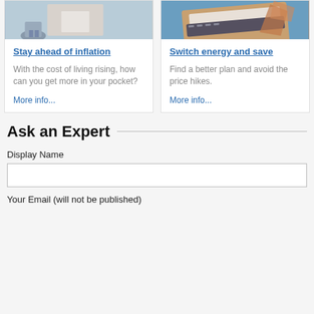[Figure (photo): Person sitting outside a house, white siding visible]
Stay ahead of inflation
With the cost of living rising, how can you get more in your pocket?
More info...
[Figure (photo): Hands typing on a laptop keyboard]
Switch energy and save
Find a better plan and avoid the price hikes.
More info...
Ask an Expert
Display Name
Your Email (will not be published)